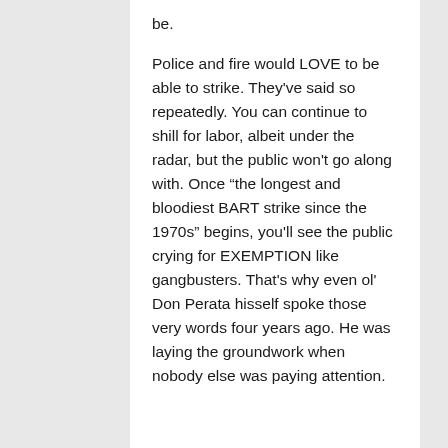be.
Police and fire would LOVE to be able to strike. They've said so repeatedly. You can continue to shill for labor, albeit under the radar, but the public won't go along with. Once “the longest and bloodiest BART strike since the 1970s” begins, you'll see the public crying for EXEMPTION like gangbusters. That's why even ol' Don Perata hisself spoke those very words four years ago. He was laying the groundwork when nobody else was paying attention.